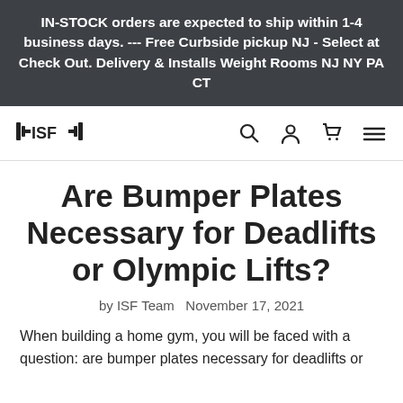IN-STOCK orders are expected to ship within 1-4 business days. --- Free Curbside pickup NJ - Select at Check Out. Delivery & Installs Weight Rooms NJ NY PA CT
[Figure (logo): ISF barbell logo with text ISF in bold with barbell plates on both sides]
Are Bumper Plates Necessary for Deadlifts or Olympic Lifts?
by ISF Team   November 17, 2021
When building a home gym, you will be faced with a question: are bumper plates necessary for deadlifts or olympic lifts? or any other weight lifting?